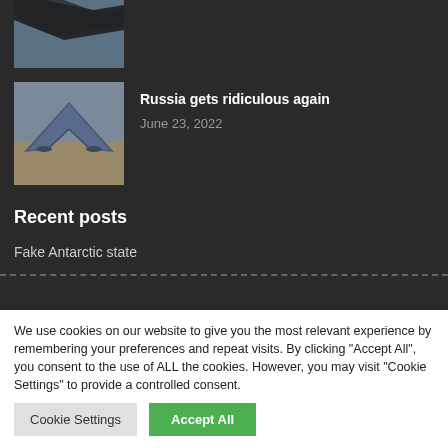[Figure (photo): Partial view of an aircraft thumbnail at the top of the page, cropped]
[Figure (photo): 3D render of a futuristic blue stealth aircraft/bomber]
Russia gets ridiculous again
June 23, 2022
Recent posts
Fake Antarctic state
We use cookies on our website to give you the most relevant experience by remembering your preferences and repeat visits. By clicking "Accept All", you consent to the use of ALL the cookies. However, you may visit "Cookie Settings" to provide a controlled consent.